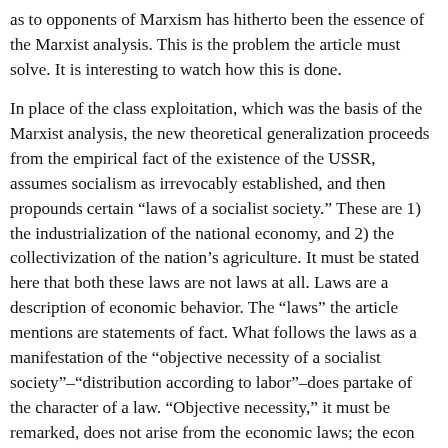as to opponents of Marxism has hitherto been the essence of the Marxist analysis. This is the problem the article must solve. It is interesting to watch how this is done.
In place of the class exploitation, which was the basis of the Marxist analysis, the new theoretical generalization proceeds from the empirical fact of the existence of the USSR, assumes socialism as irrevocably established, and then propounds certain “laws of a socialist society.” These are 1) the industrialization of the national economy, and 2) the collectivization of the nation’s agriculture. It must be stated here that both these laws are not laws at all. Laws are a description of economic behavior. The “laws” the article mentions are statements of fact. What follows the laws as a manifestation of the “objective necessity of a socialist society”–“distribution according to labor”–does partake of the character of a law. “Objective necessity,” it must be remarked, does not arise from the economic laws; the econ laws arise from objective necessity; it may, of course, mani itself differently in the Soviet Union, but the manifestations the